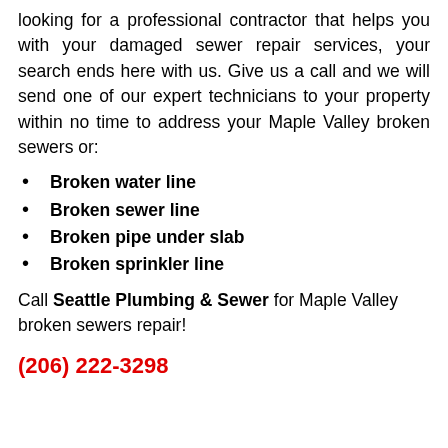looking for a professional contractor that helps you with your damaged sewer repair services, your search ends here with us. Give us a call and we will send one of our expert technicians to your property within no time to address your Maple Valley broken sewers or:
Broken water line
Broken sewer line
Broken pipe under slab
Broken sprinkler line
Call Seattle Plumbing & Sewer for Maple Valley broken sewers repair!
(206) 222-3298